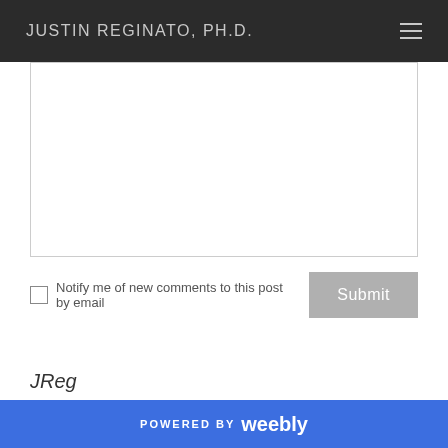JUSTIN REGINATO, PH.D.
[Figure (screenshot): Empty comment text area input box with a thin border]
Notify me of new comments to this post by email
Submit
JReg
POWERED BY weebly